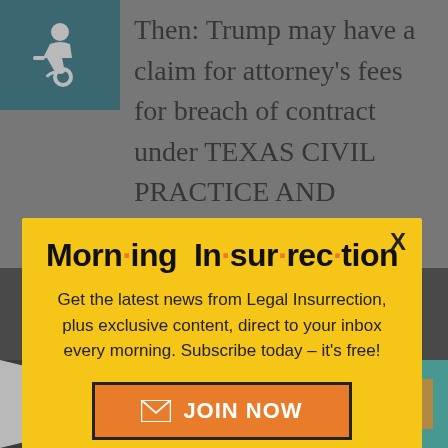Then: Trump may have a claim for attorney's fees for breach of contract under TEXAS CIVIL PRACTICE AND
[Figure (screenshot): Morning Insurrection newsletter signup modal popup with yellow background. Title: 'Morn·ing In·sur·rec·tion'. Body text: 'Get the latest news from Legal Insurrection, plus exclusive content, direct to your inbox every morning. Subscribe today – it's free!' with an orange JOIN NOW button.]
JusticeDeliver... in reply to Back to top
[Figure (infographic): THE PERSPECTIVE advertisement banner: 'SEE WHAT YOU'RE MISSING' with READ MORE button on teal/dark background]